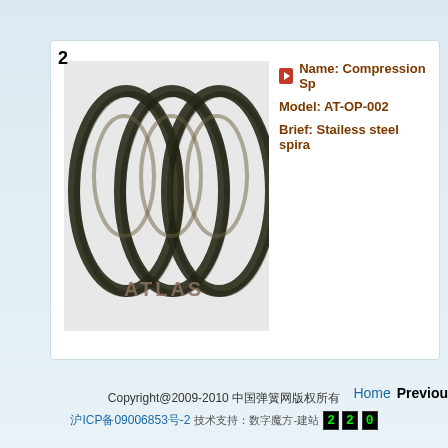[Figure (photo): Compression spring coil (stainless steel spiral) with 'ATLAS' text overlay, product item number 2]
Name: Compression Sp
Model: AT-OP-002
Brief: Stailess steel spira
Home  Previous
Copyright@2009-2010 [Chinese text]
沪ICP备09006853号-2 [Chinese text] 22 0